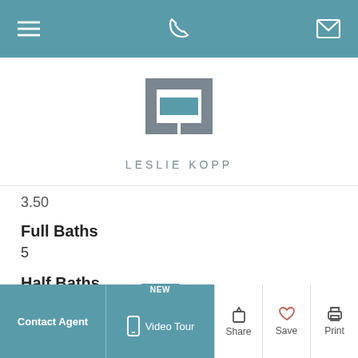Navigation bar with menu, phone, and message icons
[Figure (logo): Leslie Kopp real estate logo — geometric square bracket icon in grey with teal rectangle, text LESLIE KOPP below]
3.50
Full Baths
5
Half Baths
1
Square Footage
3,200
Acres
Contact Agent | Video Tour (NEW) | Share | Save | Print